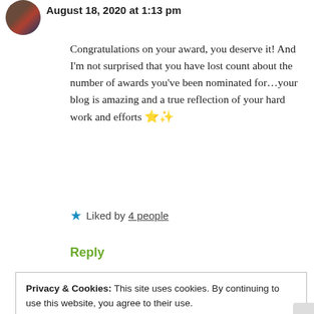August 18, 2020 at 1:13 pm
Congratulations on your award, you deserve it! And I'm not surprised that you have lost count about the number of awards you've been nominated for...your blog is amazing and a true reflection of your hard work and efforts 🌟✨
★ Liked by 4 people
Reply
Privacy & Cookies: This site uses cookies. By continuing to use this website, you agree to their use.
To find out more, including how to control cookies, see here: Cookie Policy
Close and accept